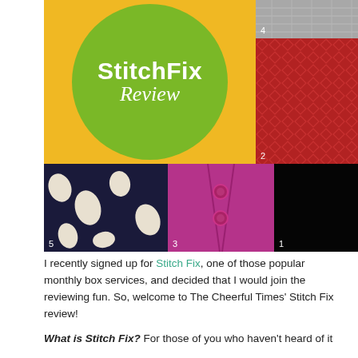[Figure (infographic): A collage of 5 numbered clothing fabric photos arranged in a grid, with a central yellow background cell containing a green circle with 'StitchFix Review' text. Cell 4: grey fabric top-right; Cell 2: red textured fabric right; Cell 5: navy polka dot fabric bottom-left; Cell 3: magenta jacket with buttons bottom-center; Cell 1: black fabric bottom-right.]
I recently signed up for Stitch Fix, one of those popular monthly box services, and decided that I would join the reviewing fun. So, welcome to The Cheerful Times' Stitch Fix review!
What is Stitch Fix? For those of you who haven't heard of it